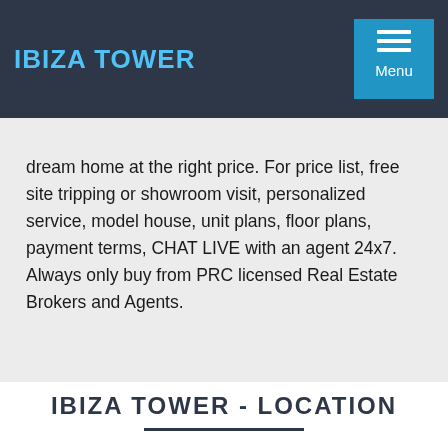IBIZA TOWER
dream home at the right price. For price list, free site tripping or showroom visit, personalized service, model house, unit plans, floor plans, payment terms, CHAT LIVE with an agent 24x7. Always only buy from PRC licensed Real Estate Brokers and Agents.
IBIZA TOWER - LOCATION